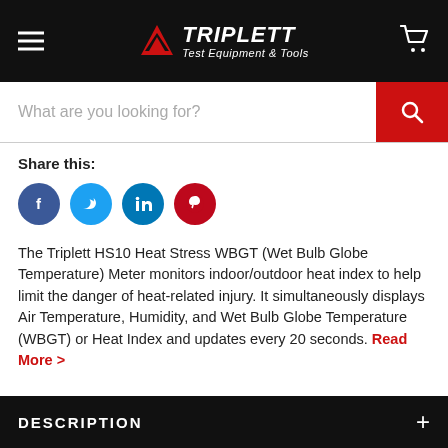Triplett Test Equipment & Tools
What are you looking for?
Share this:
[Figure (logo): Social media share icons: Facebook (blue circle), Twitter (light blue circle), LinkedIn (blue circle), Pinterest (red circle)]
The Triplett HS10 Heat Stress WBGT (Wet Bulb Globe Temperature) Meter monitors indoor/outdoor heat index to help limit the danger of heat-related injury. It simultaneously displays Air Temperature, Humidity, and Wet Bulb Globe Temperature (WBGT) or Heat Index and updates every 20 seconds. Read More >
DESCRIPTION